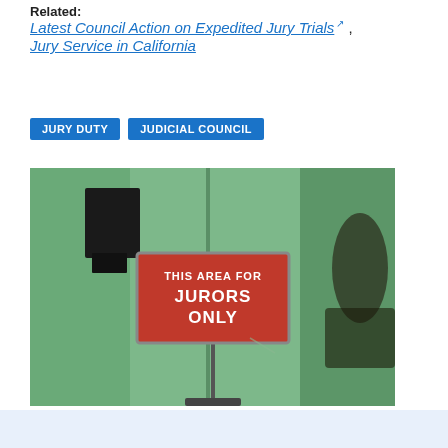Related:
Latest Council Action on Expedited Jury Trials [external link] , Jury Service in California
JURY DUTY
JUDICIAL COUNCIL
[Figure (photo): A red sign on a pole reading 'THIS AREA FOR JURORS ONLY' in a courthouse hallway with green walls.]